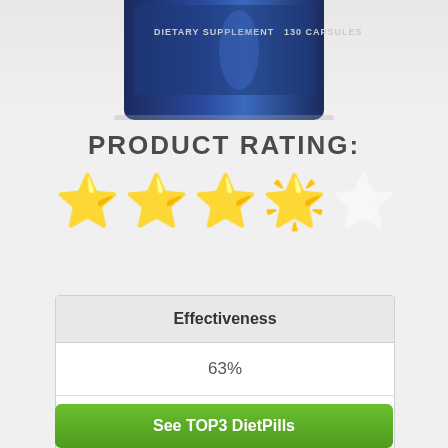[Figure (photo): Partial bottom view of a dark blue dietary supplement bottle labeled 'DIETARY SUPPLEMENT 130 CAPSULES']
PRODUCT RATING:
[Figure (other): Star rating showing 3.5 out of 5 stars — three full yellow stars, one half-yellow star, one empty star]
| Effectiveness |
| --- |
| 63% |
| ✓ |
See TOP3 DietPills